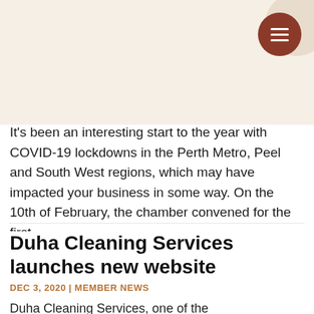[Figure (other): Hamburger menu button (dark red circle with three white horizontal lines) in top-right corner]
It's been an interesting start to the year with COVID-19 lockdowns in the Perth Metro, Peel and South West regions, which may have impacted your business in some way. On the 10th of February, the chamber convened for the first…
Duha Cleaning Services launches new website
DEC 3, 2020 | MEMBER NEWS
Duha Cleaning Services, one of the